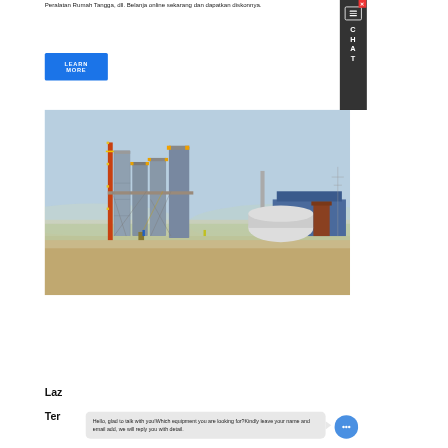Peralatan Rumah Tangga, dll. Belanja online sekarang dan dapatkan diskonnya.
LEARN MORE
[Figure (photo): Industrial cement or concrete batching plant with multiple tall silos, conveyor belts, and metal scaffolding structures, set against a clear sky with industrial buildings in the background.]
Laz
Ter
Hello, glad to talk with you!Which equipment you are looking for?Kindly leave your name and email add, we will reply you with detail.